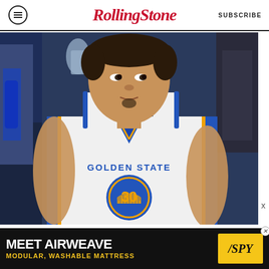Rolling Stone | SUBSCRIBE
[Figure (photo): Basketball player wearing a Golden State Warriors jersey, number 30, close-up photo showing face and upper body]
[Figure (advertisement): Advertisement banner: MEET AIRWEAVE - MODULAR, WASHABLE MATTRESS with SPY logo on yellow background]